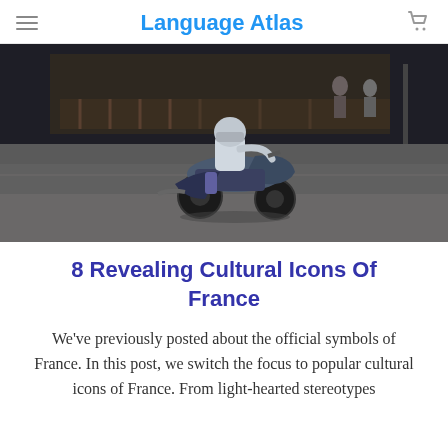Language Atlas
[Figure (photo): Street scene photo showing a motorcyclist riding on a road with a cafe or restaurant in the background, people visible, dark/moody urban setting in France.]
8 Revealing Cultural Icons Of France
We’ve previously posted about the official symbols of France. In this post, we switch the focus to popular cultural icons of France. From light-hearted stereotypes